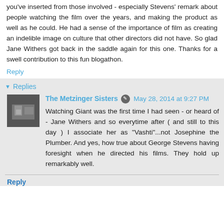you've inserted from those involved - especially Stevens' remark about people watching the film over the years, and making the product as well as he could. He had a sense of the importance of film as creating an indelible image on culture that other directors did not have. So glad Jane Withers got back in the saddle again for this one. Thanks for a swell contribution to this fun blogathon.
Reply
Replies
The Metzinger Sisters  May 28, 2014 at 9:27 PM
Watching Giant was the first time I had seen - or heard of - Jane Withers and so everytime after ( and still to this day ) I associate her as "Vashti"...not Josephine the Plumber. And yes, how true about George Stevens having foresight when he directed his films. They hold up remarkably well.
Reply